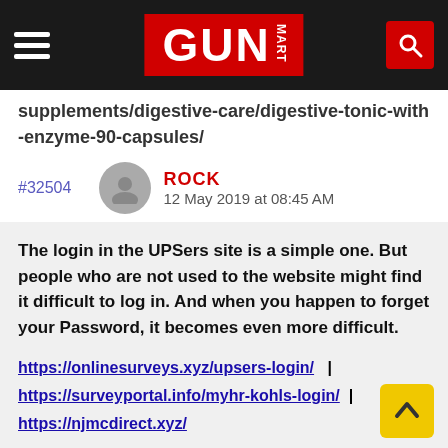GUN MART
supplements/digestive-care/digestive-tonic-with-enzyme-90-capsules/
#32504   ROCK  12 May 2019 at 08:45 AM
The login in the UPSers site is a simple one. But people who are not used to the website might find it difficult to log in. And when you happen to forget your Password, it becomes even more difficult.
https://onlinesurveys.xyz/upsers-login/ | https://surveyportal.info/myhr-kohls-login/ | https://njmcdirect.xyz/